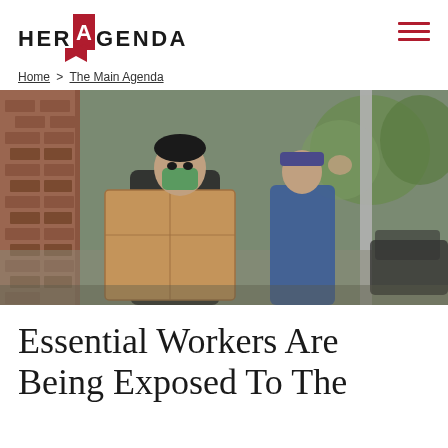HER AGENDA
Home > The Main Agenda
[Figure (photo): A person wearing a green face mask carrying a large cardboard box outdoors, with another person in a blue jacket visible in the background near trees and parked cars]
Essential Workers Are Being Exposed To The